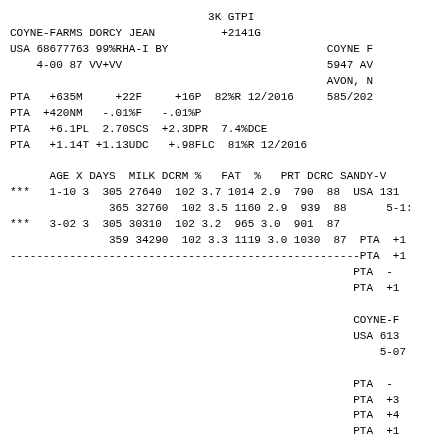3K GTPI
COYNE-FARMS DORCY JEAN  +2141G
USA 68677763 99%RHA-I BY                           COYNE F
    4-00 87 VV+VV                                  5947 AV
                                                   AVON, N
PTA   +635M     +22F     +16P   82%R 12/2016       585/202
PTA  +420NM   -.01%F   -.01%P
PTA   +6.1PL  2.70SCS  +2.3DPR  7.4%DCE
PTA   +1.14T +1.13UDC   +.98FLC  81%R 12/2016

      AGE X DAYS  MILK DCRM %   FAT  %   PRT DCRC SANDY-V
***   1-10 3  305 27640  102 3.7 1014 2.9  790  88  USA 131
               365 32760  102 3.5 1160 2.9  939  88       5-1:
***   3-02 3  305 30310  102 3.2  965 3.0  901  87
               359 34290  102 3.3 1119 3.0 1030  87  PTA  +1
-----------------------------------------------------PTA  +1
                                                    PTA  -
                                                    PTA  +1

                                                    COYNE-F
                                                    USA 613
                                                        5-07

                                                    PTA  -
                                                    PTA  +3
                                                    PTA  +4
                                                    PTA  +1